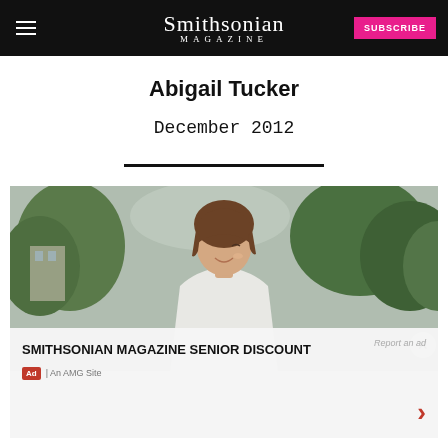Smithsonian Magazine — SUBSCRIBE
Abigail Tucker
December 2012
[Figure (photo): Young person with brown hair smiling, wearing white, outdoors with trees in background]
SMITHSONIAN MAGAZINE SENIOR DISCOUNT
Ad | An AMG Site